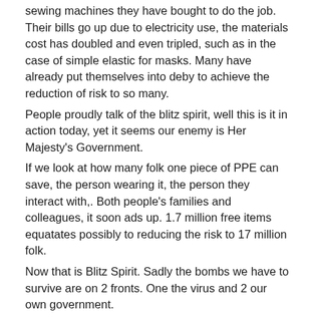sewing machines they have bought to do the job. Their bills go up due to electricity use, the materials cost has doubled and even tripled, such as in the case of simple elastic for masks. Many have already put themselves into deby to achieve the reduction of risk to so many. People proudly talk of the blitz spirit, well this is it in action today, yet it seems our enemy is Her Majesty's Government. If we look at how many folk one piece of PPE can save, the person wearing it, the person they interact with,. Both people's families and colleagues, it soon ads up. 1.7 million free items equatates possibly to reducing the risk to 17 million folk. Now that is Blitz Spirit. Sadly the bombs we have to survive are on 2 fronts. One the virus and 2 our own government. Thanks for reading. Jonesy.